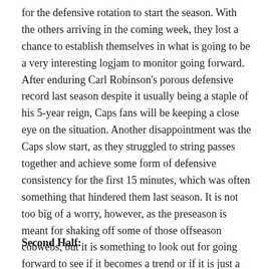for the defensive rotation to start the season. With the others arriving in the coming week, they lost a chance to establish themselves in what is going to be a very interesting logjam to monitor going forward. After enduring Carl Robinson's porous defensive record last season despite it usually being a staple of his 5-year reign, Caps fans will be keeping a close eye on the situation. Another disappointment was the Caps slow start, as they struggled to string passes together and achieve some form of defensive consistency for the first 15 minutes, which was often something that hindered them last season. It is not too big of a worry, however, as the preseason is meant for shaking off some of those offseason cobwebs, but it is something to look out for going forward to see if it becomes a trend or if it is just a blip on a growing teams radar.
Second Half: